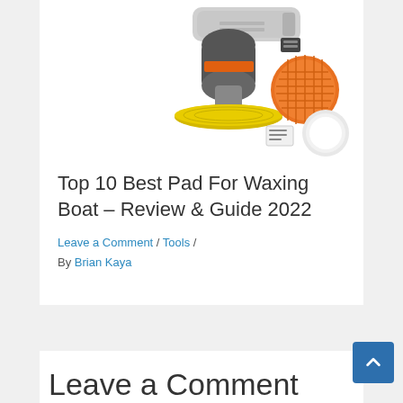[Figure (photo): A car polishing machine/buffer with yellow foam pad attached, an orange waffle foam pad, and a white foam pad arranged beside it, on a white background.]
Top 10 Best Pad For Waxing Boat – Review & Guide 2022
Leave a Comment / Tools / By Brian Kaya
Leave a Comment